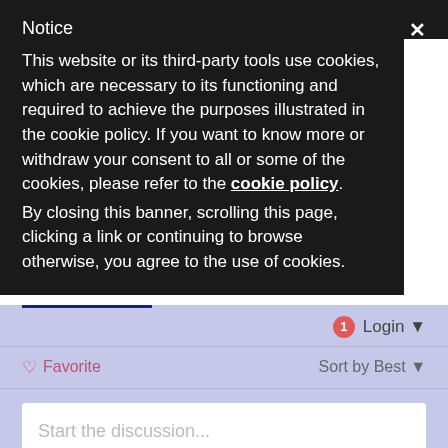Notice
This website or its third-party tools use cookies, which are necessary to its functioning and required to achieve the purposes illustrated in the cookie policy. If you want to know more or withdraw your consent to all or some of the cookies, please refer to the cookie policy. By closing this banner, scrolling this page, clicking a link or continuing to browse otherwise, you agree to the use of cookies.
Login
Favorite
Sort by Best
Start the discussion...
LOG IN WITH